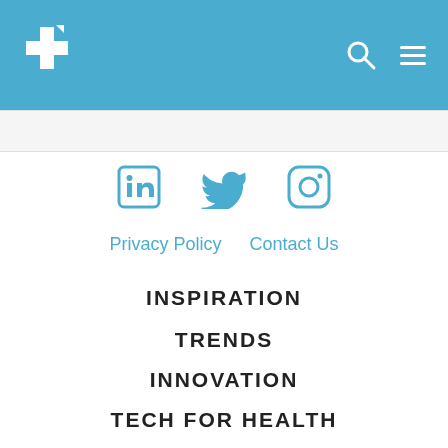Health site navigation header with logo and search/menu icons
[Figure (logo): White cross/plus medical logo on blue background with search and hamburger menu icons]
LinkedIn Twitter Instagram social icons
Privacy Policy   Contact Us
INSPIRATION
TRENDS
INNOVATION
TECH FOR HEALTH
PODCASTS
WEBINAR REPLAYS